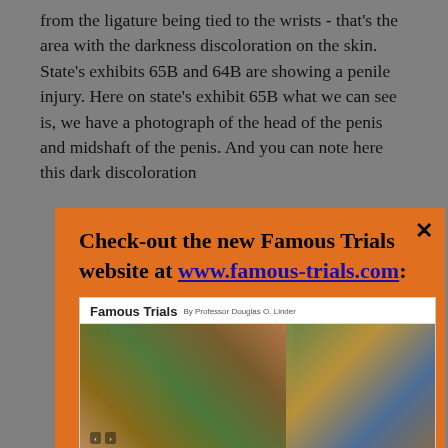from the ligature being tied to the wrists - that's the area with the darkness discoloration on the skin. State's exhibits 65B and 64B are showing a penile injury. Here on state's exhibit 65B what we can see is, we have a photograph of the head of the penis and midshaft of the penis. And you can note here this dark discoloration
[Figure (screenshot): Orange popup overlay with text 'Check-out the new Famous Trials website at www.famous-trials.com:' and a close button (×), containing a screenshot of the Famous Trials website by Professor Douglas O. Linder showing a courtroom painting, navigation buttons (ALL, FREE SPEECH TRIALS, MURDER TRIALS, RACE TRIALS, RELIGION TRIALS, WAR/CORRUPTION/POLITICS TRIALS), and thumbnail images.]